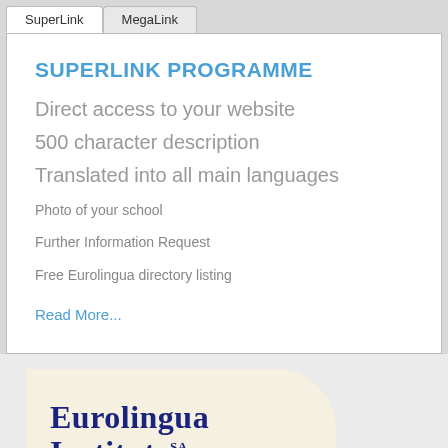SuperLink | MegaLink
SUPERLINK PROGRAMME
Direct access to your website
500 character description
Translated into all main languages
Photo of your school
Further Information Request
Free Eurolingua directory listing
Read More...
[Figure (logo): Eurolingua Institute SA — Study Abroad Programmes logo on cream background with curved top-right corner]